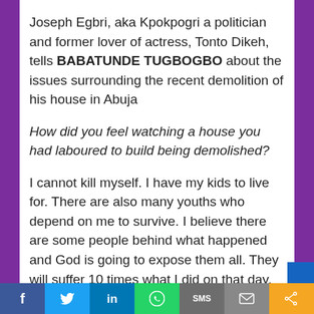Joseph Egbri, aka Kpokpogri a politician and former lover of actress, Tonto Dikeh, tells BABATUNDE TUGBOGBO about the issues surrounding the recent demolition of his house in Abuja
How did you feel watching a house you had laboured to build being demolished?
I cannot kill myself. I have my kids to live for. There are also many youths who depend on me to survive. I believe there are some people behind what happened and God is going to expose them all. They will suffer 10 times what I did on that day, because that thing (demolition) is not ordinary...